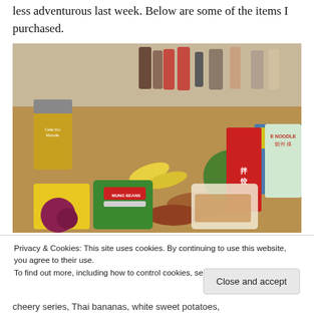less adventurous last week. Below are some of the items I purchased.
[Figure (photo): A collection of Asian groceries on a wooden surface including noodle packages, mung beans, sweet potatoes, Thai bananas, a green fruit, mushrooms, and other items.]
Privacy & Cookies: This site uses cookies. By continuing to use this website, you agree to their use.
To find out more, including how to control cookies, see here: Cookie Policy
Close and accept
cheery series, Thai bananas, white sweet potatoes,